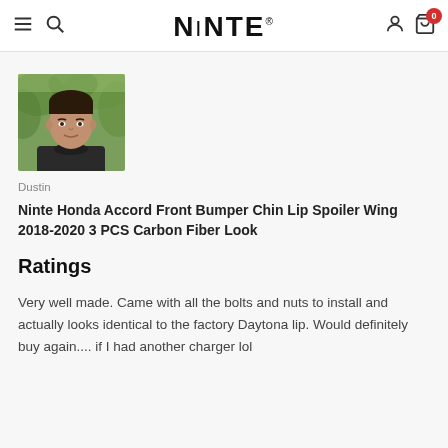NINTE
[Figure (photo): Profile photo of a man named Dustin, outdoors with green foliage background, wearing a dark turtleneck]
Dustin
Ninte Honda Accord Front Bumper Chin Lip Spoiler Wing 2018-2020 3 PCS Carbon Fiber Look
Ratings
Very well made. Came with all the bolts and nuts to install and actually looks identical to the factory Daytona lip. Would definitely buy again.... if I had another charger lol